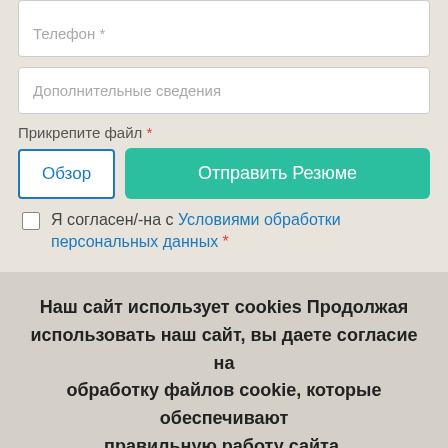[Figure (screenshot): Form input field for phone number (partially visible at top)]
Телефон *
Дополнительные сведения
Прикрепите файл *
Обзор
Отправить Резюме
Я согласен/-на с Условиями обработки персональных данных *
Наш сайт использует cookies Продолжая использовать наш сайт, вы даете согласие на обработку файлов cookie, которые обеспечивают правильную работу сайта.
Подробнее - Согласен (а)